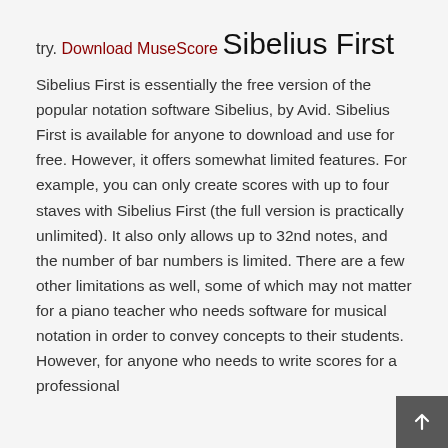try.
Download MuseScore
Sibelius First
Sibelius First is essentially the free version of the popular notation software Sibelius, by Avid. Sibelius First is available for anyone to download and use for free. However, it offers somewhat limited features. For example, you can only create scores with up to four staves with Sibelius First (the full version is practically unlimited). It also only allows up to 32nd notes, and the number of bar numbers is limited. There are a few other limitations as well, some of which may not matter for a piano teacher who needs software for musical notation in order to convey concepts to their students. However, for anyone who needs to write scores for a professional